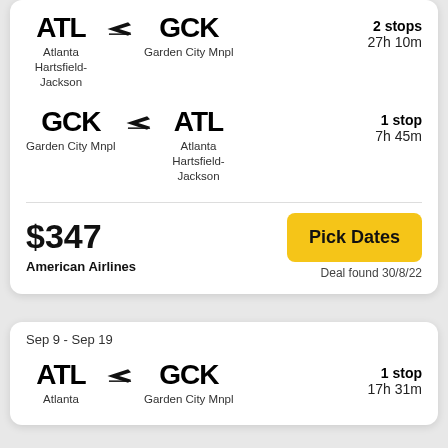ATL → GCK | Atlanta Hartsfield-Jackson → Garden City Mnpl | 2 stops | 27h 10m
GCK → ATL | Garden City Mnpl → Atlanta Hartsfield-Jackson | 1 stop | 7h 45m
$347 | American Airlines | Pick Dates | Deal found 30/8/22
Sep 9 - Sep 19
ATL → GCK | Atlanta → Garden City Mnpl | 1 stop | 17h 31m